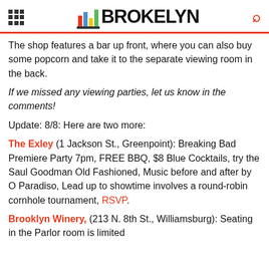BROKELYN
The shop features a bar up front, where you can also buy some popcorn and take it to the separate viewing room in the back.
If we missed any viewing parties, let us know in the comments!
Update: 8/8: Here are two more:
The Exley (1 Jackson St., Greenpoint): Breaking Bad Premiere Party 7pm, FREE BBQ, $8 Blue Cocktails, try the Saul Goodman Old Fashioned, Music before and after by O Paradiso, Lead up to showtime involves a round-robin cornhole tournament, RSVP.
Brooklyn Winery, (213 N. 8th St., Williamsburg): Seating in the Parlor room is limited